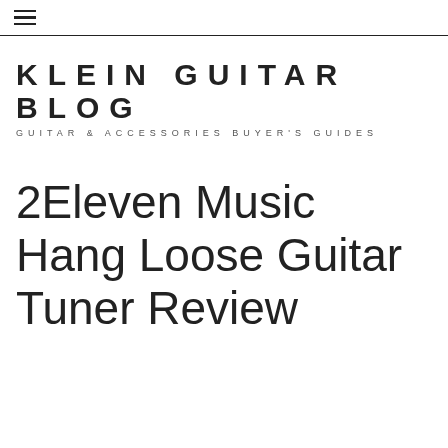≡ (hamburger menu)
[Figure (logo): Klein Guitar Blog logo with tagline 'GUITAR & ACCESSORIES BUYER'S GUIDES']
2Eleven Music Hang Loose Guitar Tuner Review